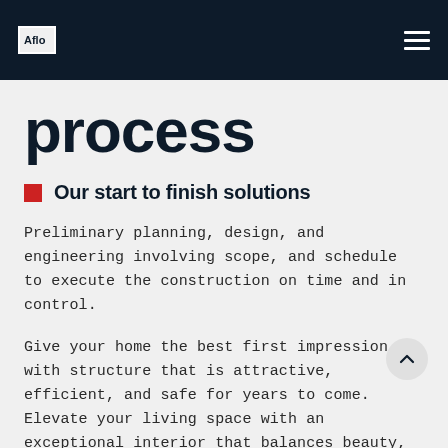Aflo [logo] [hamburger menu]
process
Our start to finish solutions
Preliminary planning, design, and engineering involving scope, and schedule to execute the construction on time and in control.
Give your home the best first impression with structure that is attractive, efficient, and safe for years to come. Elevate your living space with an exceptional interior that balances beauty, utility, and value.